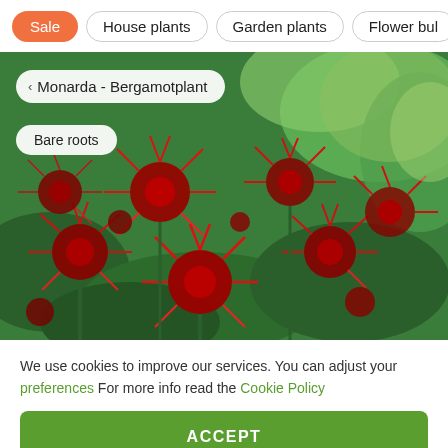Sale | House plants | Garden plants | Flower bulbs
[Figure (photo): Monarda (Bergamot plant) with vivid red spidery flowers blooming in a garden with green foliage background. Navigation breadcrumb showing '< Monarda - Bergamotplant' and 'Bare roots' label overlaid on the image.]
We use cookies to improve our services. You can adjust your preferences For more info read the Cookie Policy
ACCEPT